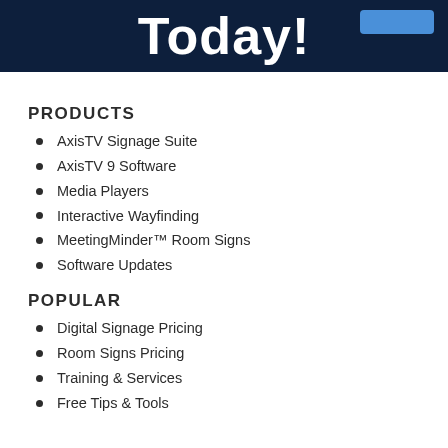Today!
PRODUCTS
AxisTV Signage Suite
AxisTV 9 Software
Media Players
Interactive Wayfinding
MeetingMinder™ Room Signs
Software Updates
POPULAR
Digital Signage Pricing
Room Signs Pricing
Training & Services
Free Tips & Tools